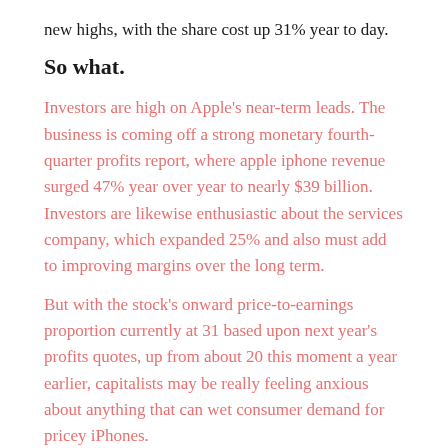new highs, with the share cost up 31% year to day.
So what.
Investors are high on Apple's near-term leads. The business is coming off a strong monetary fourth-quarter profits report, where apple iphone revenue surged 47% year over year to nearly $39 billion. Investors are likewise enthusiastic about the services company, which expanded 25% and also must add to improving margins over the long term.
But with the stock's onward price-to-earnings proportion currently at 31 based upon next year's profits quotes, up from about 20 this moment a year earlier, capitalists may be really feeling anxious about anything that can wet consumer demand for pricey iPhones.